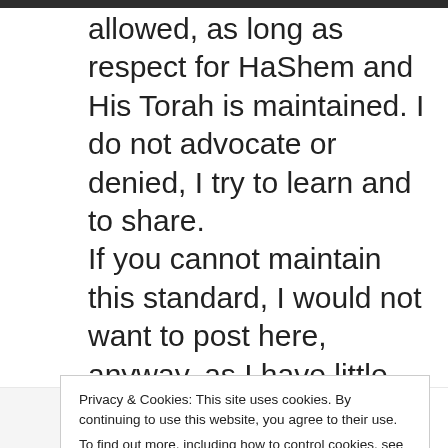allowed, as long as respect for HaShem and His Torah is maintained. I do not advocate or denied, I try to learn and to share.
If you cannot maintain this standard, I would not want to post here, anyway, as I have little time for those who are not
Privacy & Cookies: This site uses cookies. By continuing to use this website, you agree to their use.
To find out more, including how to control cookies, see here:
Cookie Policy
Close and accept